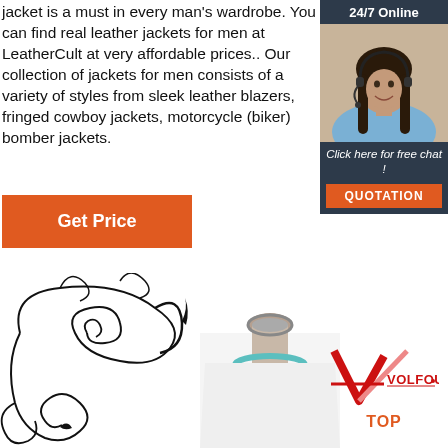jacket is a must in every man's wardrobe. You can find real leather jackets for men at LeatherCult at very affordable prices.. Our collection of jackets for men consists of a variety of styles from sleek leather blazers, fringed cowboy jackets, motorcycle (biker) bomber jackets.
[Figure (infographic): 24/7 Online chat widget with woman wearing headset, 'Click here for free chat!' text, and orange QUOTATION button on dark navy background]
[Figure (illustration): Orange 'Get Price' button]
[Figure (illustration): Black decorative swirl/flourish illustration in bottom left]
[Figure (photo): Clothing mannequin torso displaying a white t-shirt with text around the collar reading 'WHAT SO WHAT']
[Figure (logo): Volfour Top logo with red V checkmark and text 'VOLFOUR TOP']